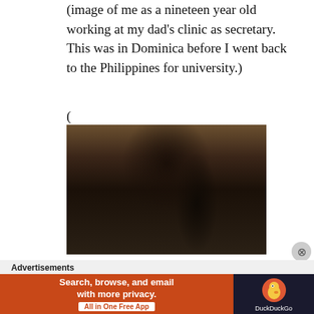(image of me as a nineteen year old working at my dad's clinic as secretary. This was in Dominica before I went back to the Philippines for university.)
(
[Figure (photo): Photograph of a young woman with long dark hair, looking downward, wearing a light purple sleeveless top, sitting at what appears to be a clinic desk.]
Advertisements
[Figure (other): DuckDuckGo advertisement banner: 'Search, browse, and email with more privacy. All in One Free App' with DuckDuckGo logo on dark background.]